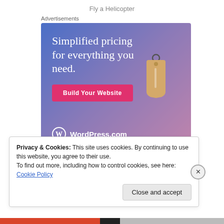Fly a Helicopter
Advertisements
[Figure (illustration): WordPress.com advertisement banner with gradient blue-purple background, text 'Simplified pricing for everything you need.', a pink 'Build Your Website' button, a tan price tag illustration, and the WordPress.com logo at the bottom.]
Privacy & Cookies: This site uses cookies. By continuing to use this website, you agree to their use.
To find out more, including how to control cookies, see here: Cookie Policy
Close and accept